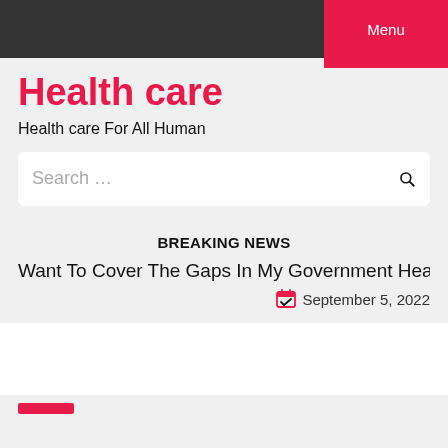Menu
Health care
Health care For All Human
Search ...
BREAKING NEWS
Want To Cover The Gaps In My Government Health Insuran
September 5, 2022